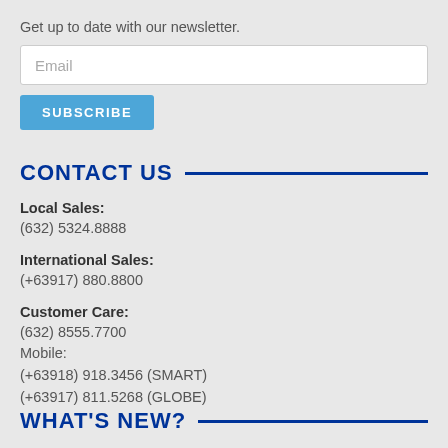Get up to date with our newsletter.
Email
SUBSCRIBE
CONTACT US
Local Sales:
(632) 5324.8888
International Sales:
(+63917) 880.8800
Customer Care:
(632) 8555.7700
Mobile:
(+63918) 918.3456 (SMART)
(+63917) 811.5268 (GLOBE)
WHAT'S NEW?